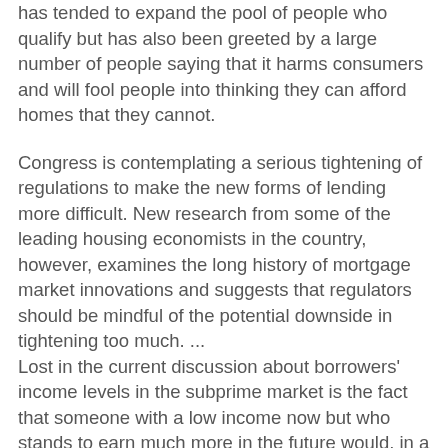has tended to expand the pool of people who qualify but has also been greeted by a large number of people saying that it harms consumers and will fool people into thinking they can afford homes that they cannot.
Congress is contemplating a serious tightening of regulations to make the new forms of lending more difficult. New research from some of the leading housing economists in the country, however, examines the long history of mortgage market innovations and suggests that regulators should be mindful of the potential downside in tightening too much. ...
Lost in the current discussion about borrowers' income levels in the subprime market is the fact that someone with a low income now but who stands to earn much more in the future would, in a perfect market, be able to borrow from a bank to buy a house. That is how economists view the efficiency of a capital market: people's decisions unrestricted by the amount of money they have